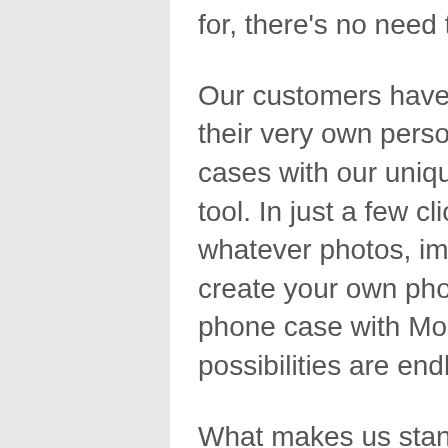for, there's no need to worry.
Our customers have the exciting option to create their very own personalised Huawei Honor 4x cases with our unique, user friendly designing tool. In just a few clicks of a mouse, you can add whatever photos, images, or texts you like to create your own phone case. Designing your own phone case with Mobilinnov means the possibilities are endless!
What makes us stand out amongst our customised phone case competitors? That's easy -quality, variety, and attention to detail. All of our mobile phone cases are custom moulded to your specific phone out of the highest quality material to deliver a long lasting and durable personalised phone case that will complement your phone while affording it superior damage resistance. Our cases also come packaged in a gorgeous gift